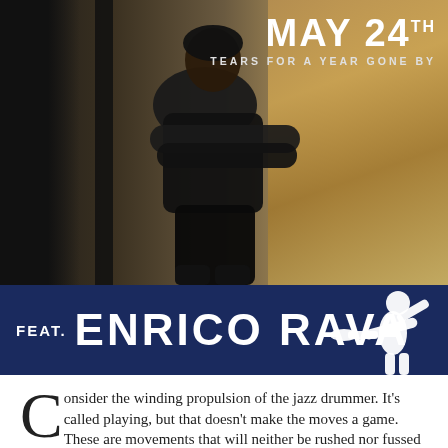[Figure (photo): A man in a black shirt standing with arms crossed leaning against a wall, with brick background and glass door on the right. Dark moody photograph.]
MAY 24th TEARS FOR A YEAR GONE BY
FEAT. ENRICO RAVA
Consider the winding propulsion of the jazz drummer. It’s called playing, but that doesn’t make the moves a game. These are movements that will neither be rushed nor fussed over nor entirely